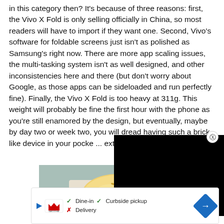in this category then? It's because of three reasons: first, the Vivo X Fold is only selling officially in China, so most readers will have to import if they want one. Second, Vivo's software for foldable screens just isn't as polished as Samsung's right now. There are more app scaling issues, the multi-tasking system isn't as well designed, and other inconsistencies here and there (but don't worry about Google, as those apps can be sideloaded and run perfectly fine). Finally, the Vivo X Fold is too heavy at 311g. This weight will probably be fine the first hour with the phone as you're still enamored by the design, but eventually, maybe by day two or week two, you will dread having such a brick-like device in your pocket... extended periods of time will t...
[Figure (photo): Photo of food items — bread rolls and fried chicken on a tray, partially obscured by a black overlay/advertisement banner on the right side.]
[Figure (screenshot): Advertisement bar showing Smoothie King logo with play icon, checkmarks for Dine-in and Curbside pickup, X for Delivery, and a blue direction arrow icon.]